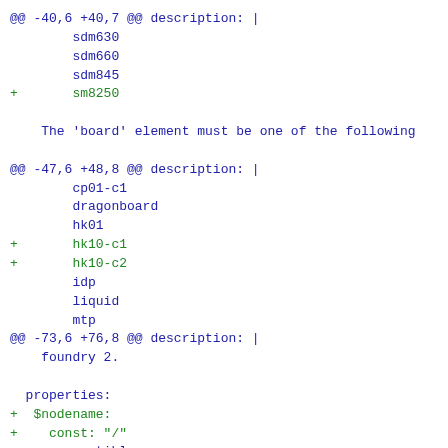@@ -40,6 +40,7 @@ description: |
        sdm630
        sdm660
        sdm845
+       sm8250

    The 'board' element must be one of the following

@@ -47,6 +48,8 @@ description: |
        cp01-c1
        dragonboard
        hk01
+       hk10-c1
+       hk10-c2
        idp
        liquid
        mtp
@@ -73,6 +76,8 @@ description: |
    foundry 2.

  properties:
+  $nodename:
+    const: "/"
      compatible:
        oneOf:
          - items:
@@ -148,6 +153,8 @@ properties:
          - items:
              - enum:
                - qcom,ipq8074-hk01